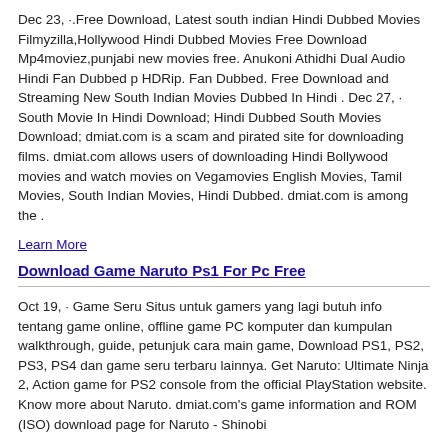Dec 23, ·.Free Download, Latest south indian Hindi Dubbed Movies Filmyzilla,Hollywood Hindi Dubbed Movies Free Download Mp4moviez,punjabi new movies free. Anukoni Athidhi Dual Audio Hindi Fan Dubbed p HDRip. Fan Dubbed. Free Download and Streaming New South Indian Movies Dubbed In Hindi . Dec 27, · South Movie In Hindi Download; Hindi Dubbed South Movies Download; dmiat.com is a scam and pirated site for downloading films. dmiat.com allows users of downloading Hindi Bollywood movies and watch movies on Vegamovies English Movies, Tamil Movies, South Indian Movies, Hindi Dubbed. dmiat.com is among the .
Learn More
Download Game Naruto Ps1 For Pc Free
Oct 19, · Game Seru Situs untuk gamers yang lagi butuh info tentang game online, offline game PC komputer dan kumpulan walkthrough, guide, petunjuk cara main game, Download PS1, PS2, PS3, PS4 dan game seru terbaru lainnya. Get Naruto: Ultimate Ninja 2, Action game for PS2 console from the official PlayStation website. Know more about Naruto. dmiat.com's game information and ROM (ISO) download page for Naruto - Shinobi